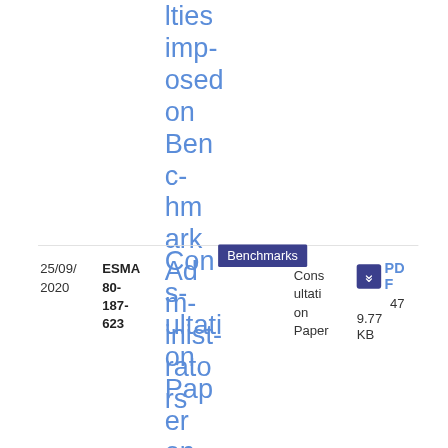lties imposed on Benchmark Administrators
25/09/2020
ESMA 80-187-623
Consultation Paper on BMR Advice Fees
Benchmarks
Consultation Paper
PDF 47 9.77 KB